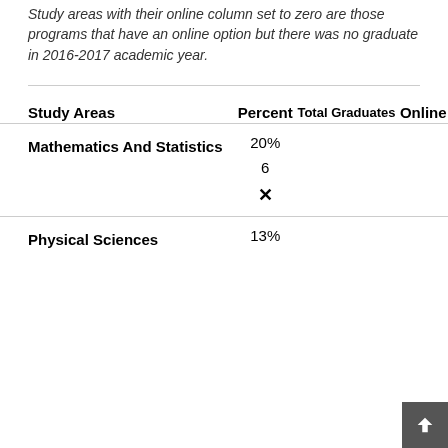Study areas with their online column set to zero are those programs that have an online option but there was no graduate in 2016-2017 academic year.
| Study Areas | Percent | Total Graduates | Online |
| --- | --- | --- | --- |
| Mathematics And Statistics | 20% | 6 | ✕ |
| Physical Sciences | 13% |  |  |